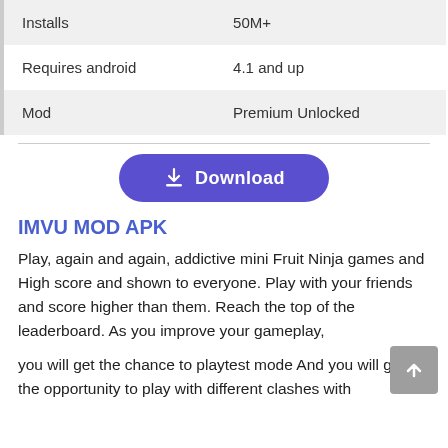| Installs | 50M+ |
| Requires android | 4.1 and up |
| Mod | Premium Unlocked |
[Figure (other): Download button with download icon, purple rounded rectangle]
IMVU MOD APK
Play, again and again, addictive mini Fruit Ninja games and High score and shown to everyone. Play with your friends and score higher than them. Reach the top of the leaderboard. As you improve your gameplay,
you will get the chance to playtest mode And you will get the opportunity to play with different clashes with